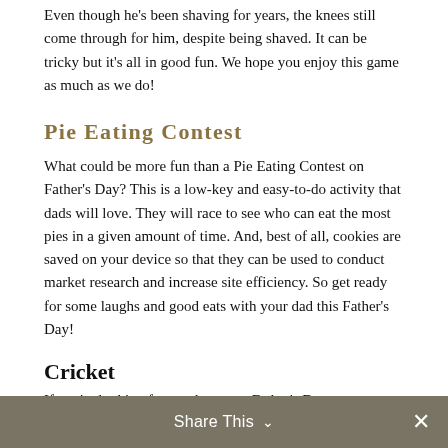Even though he's been shaving for years, the knees still come through for him, despite being shaved. It can be tricky but it's all in good fun. We hope you enjoy this game as much as we do!
Pie Eating Contest
What could be more fun than a Pie Eating Contest on Father's Day? This is a low-key and easy-to-do activity that dads will love. They will race to see who can eat the most pies in a given amount of time. And, best of all, cookies are saved on your device so that they can be used to conduct market research and increase site efficiency. So get ready for some laughs and good eats with your dad this Father's Day!
Cricket
If you're looking for another great Father's Day game